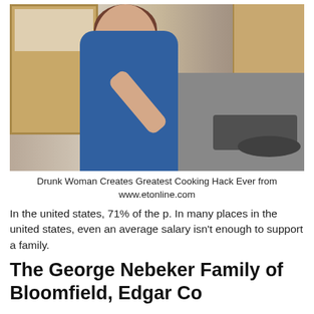[Figure (photo): A woman in a blue top tipping her head back and dropping food into her open mouth with her fingers, standing in a kitchen with a corkboard on the wall, wooden cabinets, and a stove/range in the background.]
Drunk Woman Creates Greatest Cooking Hack Ever from www.etonline.com
In the united states, 71% of the p. In many places in the united states, even an average salary isn't enough to support a family.
The George Nebeker Family of Bloomfield, Edgar Co